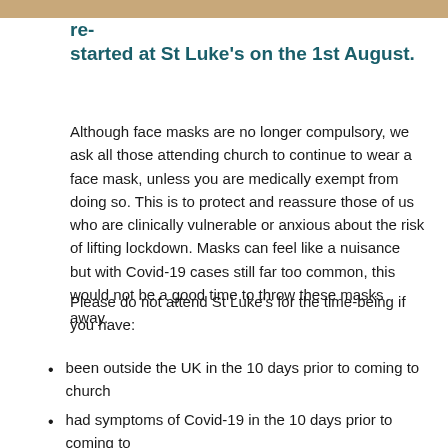[Figure (photo): Partial photo strip at top of page]
re-started at St Luke's on the 1st August.
Although face masks are no longer compulsory, we ask all those attending church to continue to wear a face mask, unless you are medically exempt from doing so. This is to protect and reassure those of us who are clinically vulnerable or anxious about the risk of lifting lockdown. Masks can feel like a nuisance but with Covid-19 cases still far too common, this would not be a good time to throw these masks away.
Please do not attend St Luke's for the time-being if you have:
been outside the UK in the 10 days prior to coming to church
had symptoms of Covid-19 in the 10 days prior to coming to church